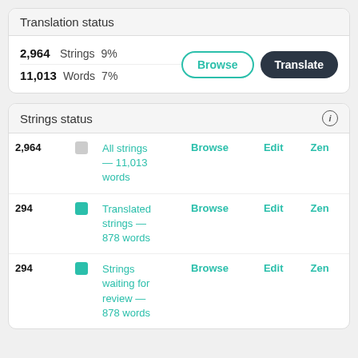Translation status
| 2,964 | Strings | 9% |
| 11,013 | Words | 7% |
Strings status
| 2,964 |  | All strings — 11,013 words | Browse | Edit | Zen |
| 294 |  | Translated strings — 878 words | Browse | Edit | Zen |
| 294 |  | Strings waiting for review — 878 words | Browse | Edit | Zen |